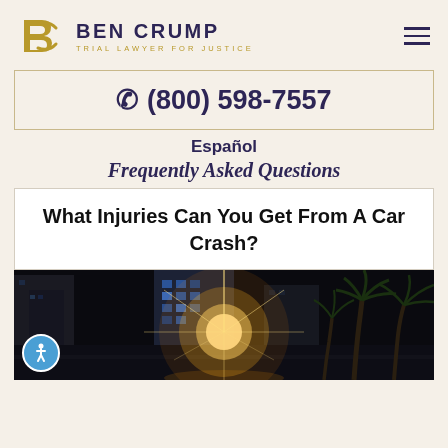BEN CRUMP — TRIAL LAWYER FOR JUSTICE
(800) 598-7557
Español
Frequently Asked Questions
What Injuries Can You Get From A Car Crash?
[Figure (photo): Nighttime city street scene with bright streetlight starburst, illuminated skyscrapers, and palm trees on the right side.]